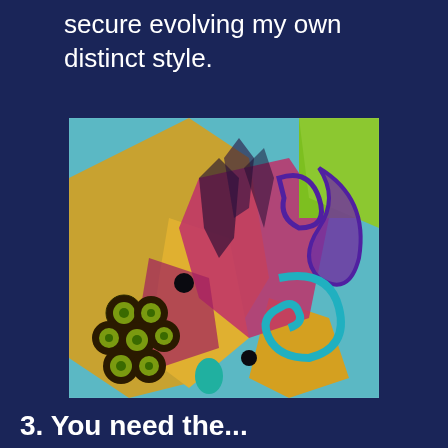secure evolving my own distinct style.
[Figure (illustration): Abstract colorful painting with swirling patterns featuring gold/yellow, magenta/pink, teal/cyan, green, and purple shapes on canvas. Clusters of green circles with dark centers in lower left, spiral motifs, and abstract organic forms throughout.]
3. You need the ...